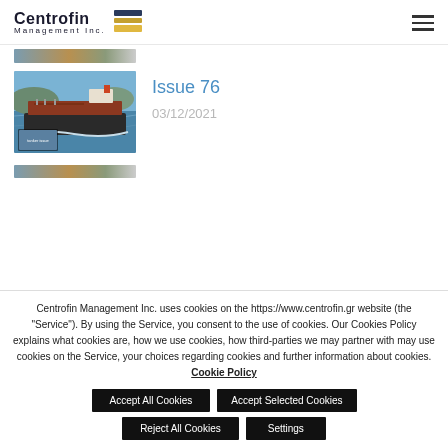Centrofin Management Inc.
[Figure (photo): Partially visible thumbnail strip at top of content area]
[Figure (photo): Tanker ship sailing in blue water, aerial view, dark hull with rust-colored deck, small thumbnail overlay at bottom-left corner]
Issue 76
03/12/2021
[Figure (photo): Partially visible bottom image strip]
Centrofin Management Inc. uses cookies on the https://www.centrofin.gr website (the "Service"). By using the Service, you consent to the use of cookies. Our Cookies Policy explains what cookies are, how we use cookies, how third-parties we may partner with may use cookies on the Service, your choices regarding cookies and further information about cookies. Cookie Policy